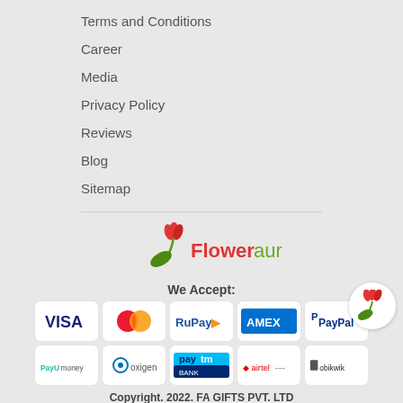Terms and Conditions
Career
Media
Privacy Policy
Reviews
Blog
Sitemap
[Figure (logo): Floweraura logo with tulip and leaf]
We Accept:
[Figure (infographic): Payment method logos: VISA, Mastercard, RuPay, AMEX, PayPal, PayUmoney, Oxigen, Paytm, Airtel, Mobikwik]
Copyright. 2022. FA GIFTS PVT. LTD